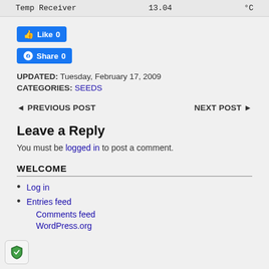|  |  |  |
| --- | --- | --- |
| Temp Receiver | 13.04 | °C |
[Figure (other): Facebook Like button showing count 0]
[Figure (other): Facebook Share button showing count 0]
UPDATED: Tuesday, February 17, 2009
CATEGORIES: SEEDS
◄ PREVIOUS POST    NEXT POST ►
Leave a Reply
You must be logged in to post a comment.
WELCOME
Log in
Entries feed
Comments feed
WordPress.org